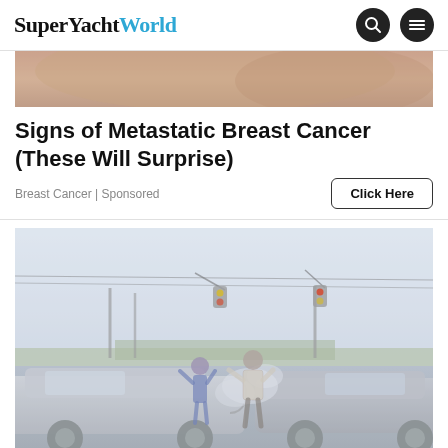SuperYachtWorld
[Figure (photo): Partial cropped photo showing skin/body, top portion cut off]
Signs of Metastatic Breast Cancer (These Will Surprise)
Breast Cancer | Sponsored
Click Here
[Figure (photo): Photo of a car accident scene with two damaged vehicles and people standing nearby, traffic lights visible overhead]